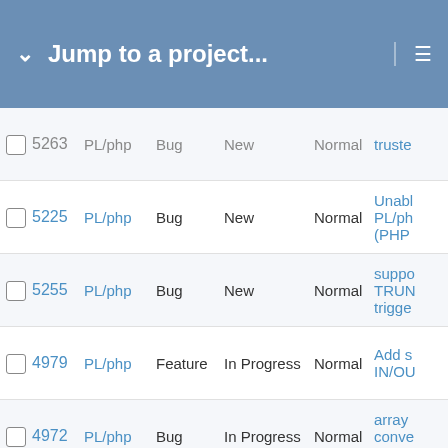Jump to a project...
|  | # | Project | Type | Status | Priority | Subject |
| --- | --- | --- | --- | --- | --- | --- |
|  | 5263 | PL/php | Bug | New | Normal | truste... |
|  | 5225 | PL/php | Bug | New | Normal | Unabl... PL/ph... (PHP... |
|  | 5255 | PL/php | Bug | New | Normal | suppo... TRUN... trigge... |
|  | 4979 | PL/php | Feature | In Progress | Normal | Add s... IN/OU... |
|  | 4972 | PL/php | Bug | In Progress | Normal | array ... conve... broke... |
|  | 4967 | PL/php | Feature | In Progress | Normal | Redes... handli... |
|  | 5260 | PL/php | Bug | New | High | The fu... not re... string ... there i... definit... includ... |
|  | 4984 | PL/php | Feature | In Progress | Normal | Comp... Argum... |